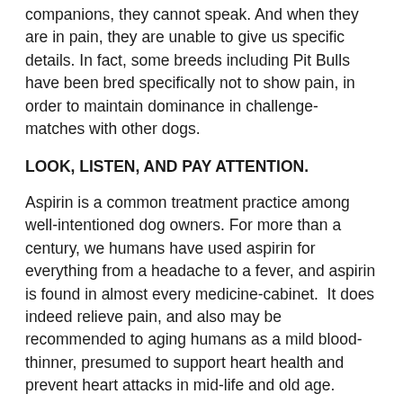companions, they cannot speak. And when they are in pain, they are unable to give us specific details. In fact, some breeds including Pit Bulls have been bred specifically not to show pain, in order to maintain dominance in challenge-matches with other dogs.
LOOK, LISTEN, AND PAY ATTENTION.
Aspirin is a common treatment practice among well-intentioned dog owners. For more than a century, we humans have used aspirin for everything from a headache to a fever, and aspirin is found in almost every medicine-cabinet.  It does indeed relieve pain, and also may be recommended to aging humans as a mild blood-thinner, presumed to support heart health and prevent heart attacks in mid-life and old age.
But this doesn’t mean that it’s right for your dog.
In fact, aspirin should never be given to puppies, under any circumstances. And most other medications for